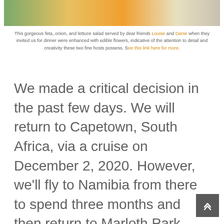[Figure (photo): Partial view of a salad bowl with feta, onion, lettuce, edible flowers, and other colorful toppings, shown from above.]
This gorgeous feta, onion, and lettuce salad served by dear friends Louise and Danie when they invited us for dinner were enhanced with edible flowers, indicative of the attention to detail and creativity these two fine hosts possess. See this link here for more.
We made a critical decision in the past few days. We will return to Capetown, South Africa, via a cruise on December 2, 2020. However, we’ll fly to Namibia from there to spend three months and then return to Marloth Park.